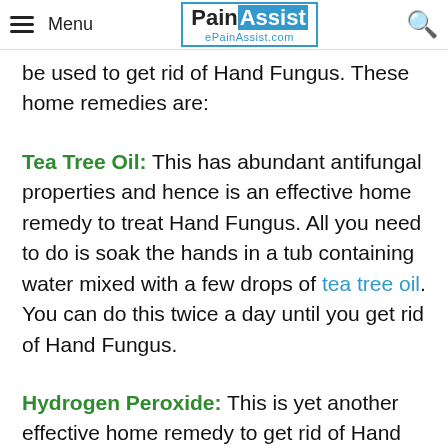Menu | PainAssist ePainAssist.com
be used to get rid of Hand Fungus. These home remedies are:
Tea Tree Oil: This has abundant antifungal properties and hence is an effective home remedy to treat Hand Fungus. All you need to do is soak the hands in a tub containing water mixed with a few drops of tea tree oil. You can do this twice a day until you get rid of Hand Fungus.
Hydrogen Peroxide: This is yet another effective home remedy to get rid of Hand Fungus. Soaking the hands in hydrogen peroxide tends to kill fungus effectively and gets rid of the hand fungus. The